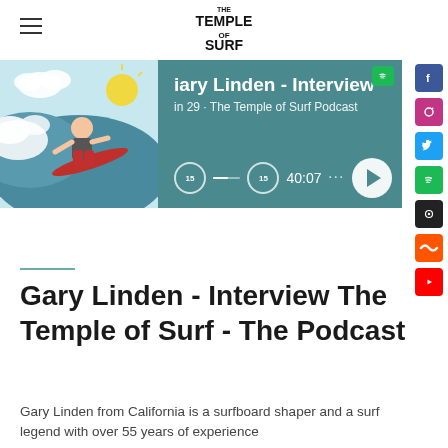THE TEMPLE OF SURF
[Figure (screenshot): Podcast player banner showing Gary Linden Interview on The Temple of Surf Podcast, episode 29, with surfer illustration and playback controls showing 40:07]
Gary Linden - Interview The Temple of Surf - The Podcast
Gary Linden from California is a surfboard shaper and a surf legend with over 55 years of experience